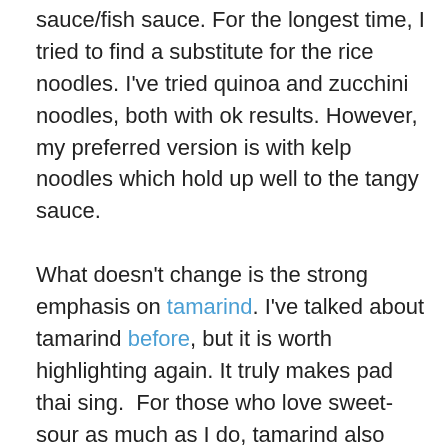sauce/fish sauce. For the longest time, I tried to find a substitute for the rice noodles. I've tried quinoa and zucchini noodles, both with ok results. However, my preferred version is with kelp noodles which hold up well to the tangy sauce.

What doesn't change is the strong emphasis on tamarind. I've talked about tamarind before, but it is worth highlighting again. It truly makes pad thai sing.  For those who love sweet-sour as much as I do, tamarind also falls into the love category. Rob likes to remind me that fresh tamarind pods look like poo, but you can't tell by looking at the pulp or concentrate. There are a few ways to buy tamarind. The blocks of tamarind pulp are cheap ($1) but you need to soak and strain it before you use it. Rob and I have converted to using tamarind concentrate ($2-3), though the slightly more concentrated...